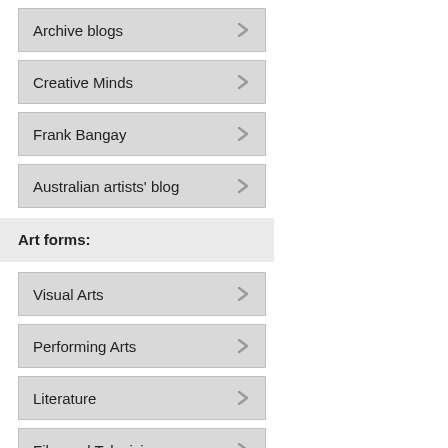Archive blogs
Creative Minds
Frank Bangay
Australian artists' blog
Art forms:
Visual Arts
Performing Arts
Literature
Film and Television